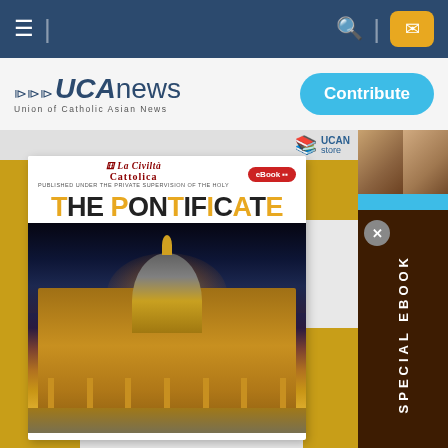UCANews navigation bar with hamburger menu, search and email icons
[Figure (logo): UCANews logo - Union of Catholic Asian News with Contribute button]
[Figure (screenshot): Website screenshot showing La Civilta Cattolica eBook 'The Pontificate' with St. Peter's Basilica image, UCAN Store badge, Special Ebook side panel, and partial article text reading 'work', 'es of sculptures', 'churches']